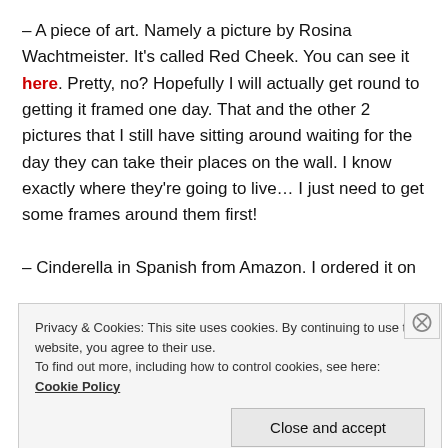– A piece of art. Namely a picture by Rosina Wachtmeister. It's called Red Cheek. You can see it here. Pretty, no? Hopefully I will actually get round to getting it framed one day. That and the other 2 pictures that I still have sitting around waiting for the day they can take their places on the wall. I know exactly where they're going to live... I just need to get some frames around them first!
– Cinderella in Spanish from Amazon. I ordered it on
Privacy & Cookies: This site uses cookies. By continuing to use this website, you agree to their use.
To find out more, including how to control cookies, see here: Cookie Policy